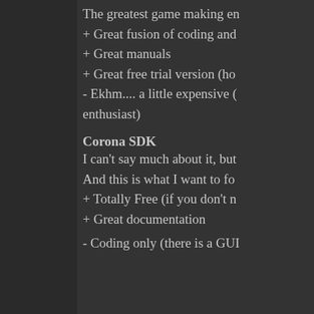The greatest game making en
+ Great fusion of coding and
+ Great manuals
+ Great free trial version (ho
- Ekhm.... a little expensive ( enthusiast)
Corona SDK
I can't say much about it, but
And this is what I want to fo
+ Totally Free (if you don't n
+ Great documentation
- Coding only (there is a GUI
Ulnarevern
21 Apr 2015 10:32
Wow nice list!